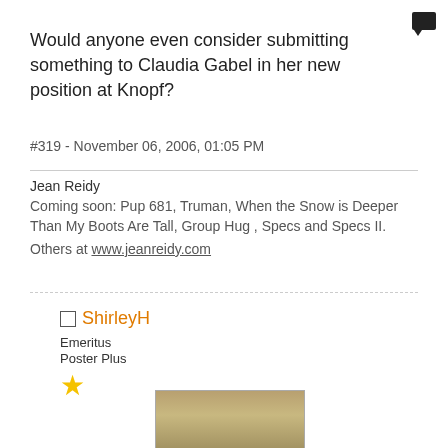[Figure (other): Chat/comment bubble icon in top right corner]
Would anyone even consider submitting something to Claudia Gabel in her new position at Knopf?
#319 - November 06, 2006, 01:05 PM
Jean Reidy
Coming soon: Pup 681, Truman, When the Snow is Deeper Than My Boots Are Tall, Group Hug , Specs and Specs II.
Others at www.jeanreidy.com
ShirleyH
Emeritus
Poster Plus
★
[Figure (photo): Photo of a dog (light brown/tan Labrador) partially visible at the bottom of the page]